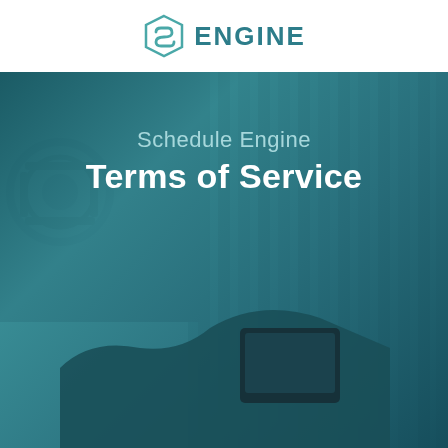[Figure (logo): Schedule Engine logo: a teal geometric hexagon/shield icon on the left, and the text ENGINE in bold teal capital letters on the right]
[Figure (photo): A teal-overlaid background photo showing mechanical/HVAC equipment (radiator fins and piping) with a person holding a tablet in the lower right. The overlay gives the image a teal/dark cyan tint.]
Schedule Engine Terms of Service